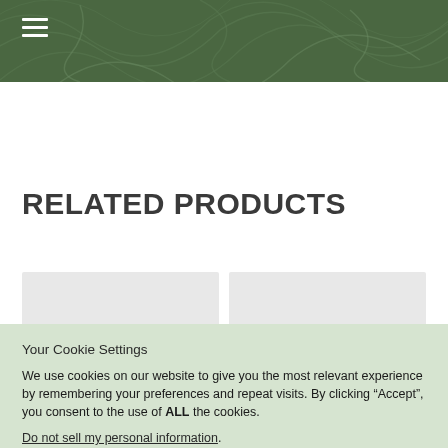[Figure (screenshot): Green decorative botanical header banner with swirling leaf patterns]
RELATED PRODUCTS
[Figure (other): Two gray placeholder product card tiles]
Your Cookie Settings
We use cookies on our website to give you the most relevant experience by remembering your preferences and repeat visits. By clicking “Accept”, you consent to the use of ALL the cookies.
Do not sell my personal information.
Cookie Settings   Accept